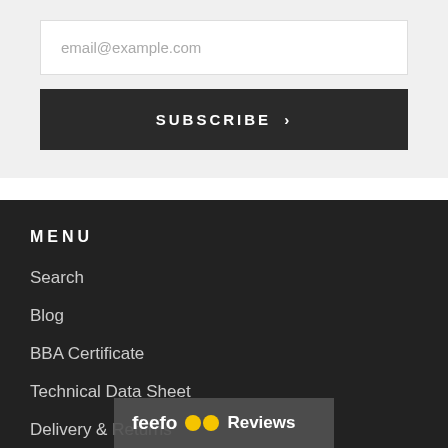email@example.com
SUBSCRIBE >
MENU
Search
Blog
BBA Certificate
Technical Data Sheet
Delivery & Returns
Installation Instru...
feefo Reviews